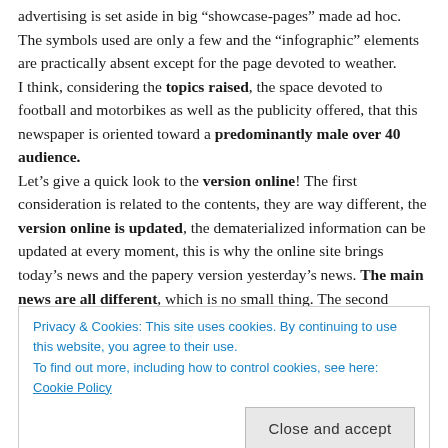advertising is set aside in big “showcase-pages” made ad hoc. The symbols used are only a few and the “infographic” elements are practically absent except for the page devoted to weather. I think, considering the topics raised, the space devoted to football and motorbikes as well as the publicity offered, that this newspaper is oriented toward a predominantly male over 40 audience. Let’s give a quick look to the version online! The first consideration is related to the contents, they are way different, the version online is updated, the dematerialized information can be updated at every moment, this is why the online site brings today’s news and the papery version yesterday’s news. The main news are all different, which is no small thing. The second difference stays in the number of the contents offered, the web page has an indefinite length and it is opportunely divided in horizontal areas, thing that imposes a certain
Privacy & Cookies: This site uses cookies. By continuing to use this website, you agree to their use.
To find out more, including how to control cookies, see here: Cookie Policy
Close and accept
I wouldn’t even consider them as articles, but rather news. Their